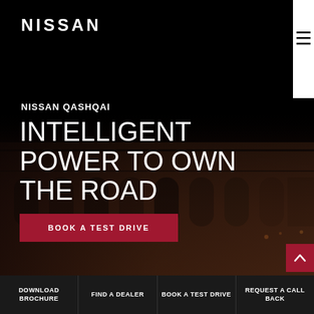[Figure (screenshot): Nissan website screenshot with dark background showing a building at night, hamburger menu in top right corner and white sidebar strip]
NISSAN
NISSAN QASHQAI
INTELLIGENT POWER TO OWN THE ROAD
BOOK A TEST DRIVE
DOWNLOAD BROCHURE | FIND A DEALER | BOOK A TEST DRIVE | REQUEST A CALL BACK